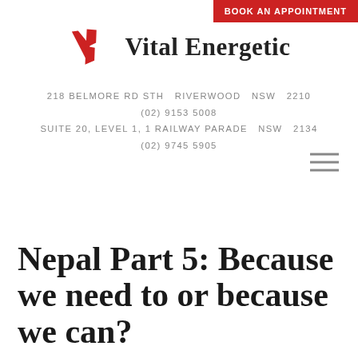BOOK AN APPOINTMENT
[Figure (logo): Vital Energetic logo with red stylized VE letters and bold text 'Vital Energetic']
218 BELMORE RD STH   RIVERWOOD   NSW   2210
(02) 9153 5008
SUITE 20, LEVEL 1, 1 RAILWAY PARADE   NSW   2134
(02) 9745 5905
[Figure (other): Hamburger menu icon (three horizontal lines)]
Nepal Part 5: Because we need to or because we can?